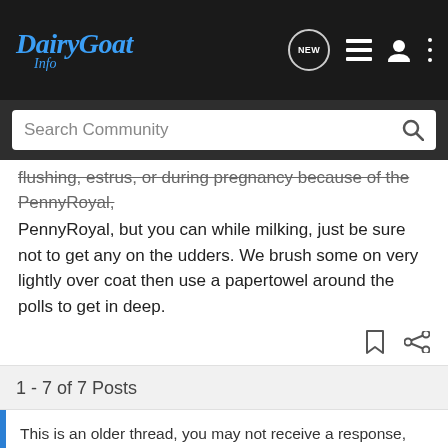[Figure (logo): DairyGoat Info logo in blue italic text on dark background header with navigation icons (NEW, list, user, dots)]
flushing, estrus, or during pregnancy because of the PennyRoyal, but you can while milking, just be sure not to get any on the udders. We brush some on very lightly over coat then use a papertowel around the polls to get in deep.
1 - 7 of 7 Posts
This is an older thread, you may not receive a response, and could be reviving an old thread. Please consider creating a new thread.
Join the discussion